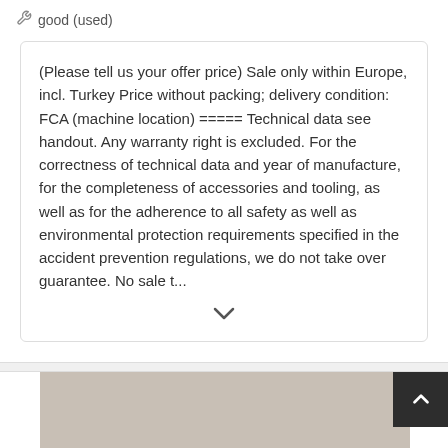🔧 good (used)
(Please tell us your offer price) Sale only within Europe, incl. Turkey Price without packing; delivery condition: FCA (machine location) ===== Technical data see handout. Any warranty right is excluded. For the correctness of technical data and year of manufacture, for the completeness of accessories and tooling, as well as for the adherence to all safety as well as environmental protection requirements specified in the accident prevention regulations, we do not take over guarantee. No sale t...
[Figure (photo): Grey/beige textured surface photo, partially visible at bottom of page]